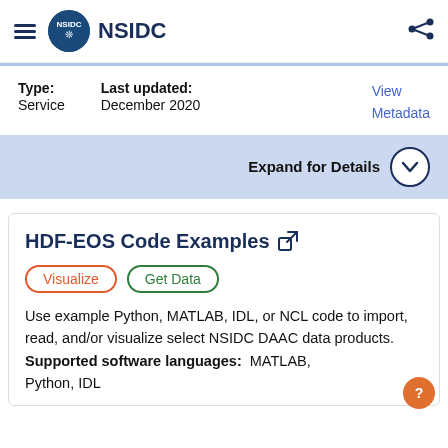NSIDC
Type: Service
Last updated: December 2020
View Metadata
Expand for Details
HDF-EOS Code Examples
Visualize
Get Data
Use example Python, MATLAB, IDL, or NCL code to import, read, and/or visualize select NSIDC DAAC data products. Supported software languages: MATLAB, Python, IDL